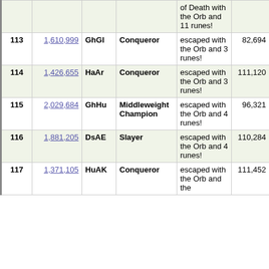| # | Score | Char | Title | Outcome | Turns | Time |
| --- | --- | --- | --- | --- | --- | --- |
|  |  |  |  | of Death with the Orb and 11 runes! |  |  |
| 113 | 1,610,999 | GhGl | Conqueror | escaped with the Orb and 3 runes! | 82,694 | 04:37|05 |
| 114 | 1,426,655 | HaAr | Conqueror | escaped with the Orb and 3 runes! | 111,120 | 10:56:10 |
| 115 | 2,029,684 | GhHu | Middleweight Champion | escaped with the Orb and 4 runes! | 96,321 | 05:10|26 |
| 116 | 1,881,205 | DsAE | Slayer | escaped with the Orb and 4 runes! | 110,284 | 06:03:55 |
| 117 | 1,371,105 | HuAK | Conqueror | escaped with the Orb and the ... | 111,452 | 05:03|47 |